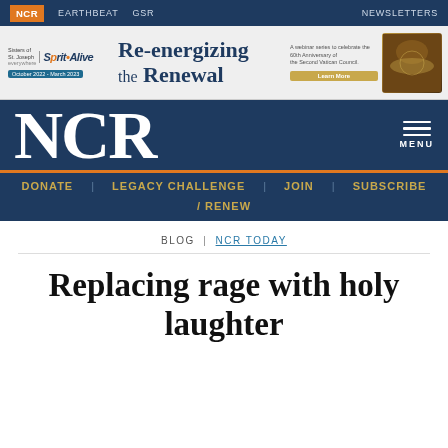NCR  EARTHBEAT  GSR  NEWSLETTERS
[Figure (screenshot): Advertisement banner for Sisters of St. Joseph Spirit Alive webinar series: Re-energizing the Renewal, October 2022 - March 2023, celebrating the 60th Anniversary of the Second Vatican Council. Learn More button.]
NCR  MENU
DONATE  LEGACY CHALLENGE  JOIN  SUBSCRIBE / RENEW
BLOG | NCR TODAY
Replacing rage with holy laughter